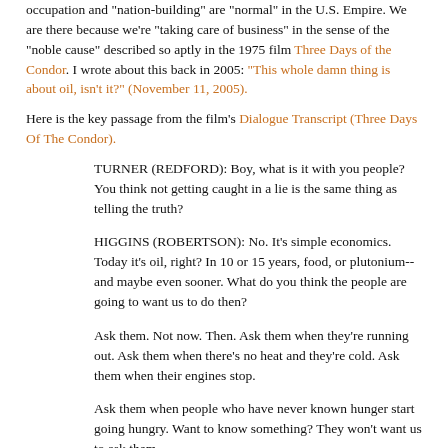occupation and "nation-building" are "normal" in the U.S. Empire. We are there because we're "taking care of business" in the sense of the "noble cause" described so aptly in the 1975 film Three Days of the Condor. I wrote about this back in 2005: "This whole damn thing is about oil, isn't it?" (November 11, 2005).
Here is the key passage from the film's Dialogue Transcript (Three Days Of The Condor).
TURNER (REDFORD): Boy, what is it with you people? You think not getting caught in a lie is the same thing as telling the truth?
HIGGINS (ROBERTSON): No. It's simple economics. Today it's oil, right? In 10 or 15 years, food, or plutonium-- and maybe even sooner. What do you think the people are going to want us to do then?
Ask them. Not now. Then. Ask them when they're running out. Ask them when there's no heat and they're cold. Ask them when their engines stop.
Ask them when people who have never known hunger start going hungry. Want to know something? They won't want us to ask them.
They'll want us to get it for them.